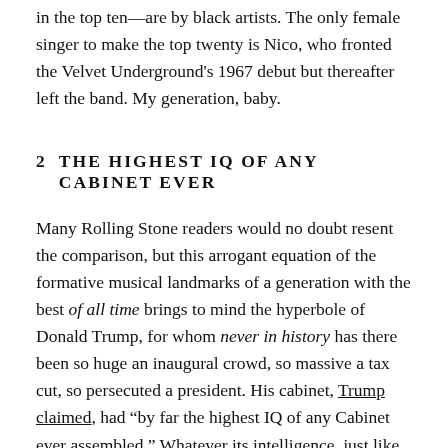in the top ten—are by black artists.  The only female singer to make the top twenty is Nico, who fronted the Velvet Underground's 1967 debut but thereafter left the band.  My generation, baby.
2  THE HIGHEST IQ OF ANY CABINET EVER
Many Rolling Stone readers would no doubt resent the comparison, but this arrogant equation of the formative musical landmarks of a generation with the best of all time brings to mind the hyperbole of Donald Trump, for whom never in history has there been so huge an inaugural crowd, so massive a tax cut, so persecuted a president.  His cabinet, Trump claimed, had "by far the highest IQ of any Cabinet ever assembled."  Whatever its intelligence, just like Rolling Stone's top twenty albums